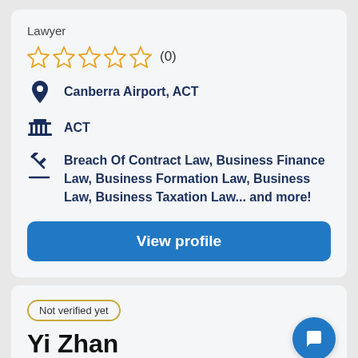Lawyer
[Figure (infographic): Five star rating icons (empty/outline stars) followed by review count (0)]
Canberra Airport, ACT
ACT
Breach Of Contract Law, Business Finance Law, Business Formation Law, Business Law, Business Taxation Law... and more!
View profile
Not verified yet
Yi Zhan